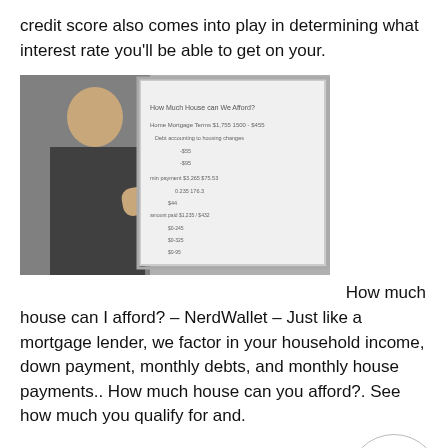credit score also comes into play in determining what interest rate you'll be able to get on your.
[Figure (photo): A man pointing at a whiteboard covered in mortgage-related calculations and notes.]
How much house can I afford? – NerdWallet – Just like a mortgage lender, we factor in your household income, down payment, monthly debts, and monthly house payments.. How much house can you afford?. See how much you qualify for and.
Debt-To-Income and Your Mortgage: Will You Qualify? – Debt-To-Income and Your Mortgage: Will You Qualify? Tuesday, March 12, 2019. In a Domestic